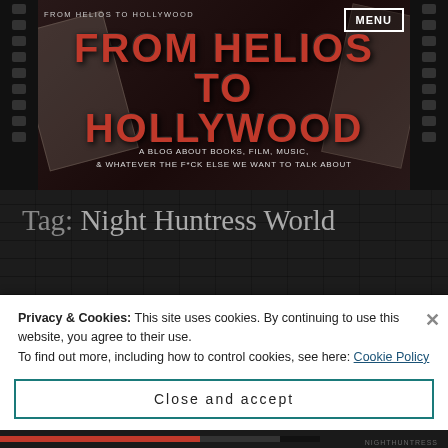FROM HELIOS TO HOLLYWOOD
FROM HELIOS TO HOLLYWOOD
A BLOG ABOUT BOOKS, FILM, MUSIC, & WHATEVER THE F*CK ELSE WE WANT TO TALK ABOUT
Tag: Night Huntress World
Privacy & Cookies: This site uses cookies. By continuing to use this website, you agree to their use.
To find out more, including how to control cookies, see here: Cookie Policy
Close and accept